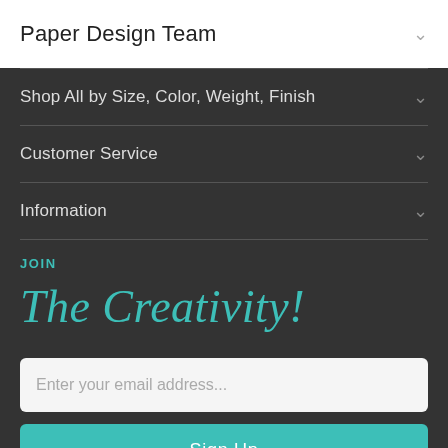Paper Design Team
Shop All by Size, Color, Weight, Finish
Customer Service
Information
JOIN
The Creativity!
Enter your email address...
Sign Up